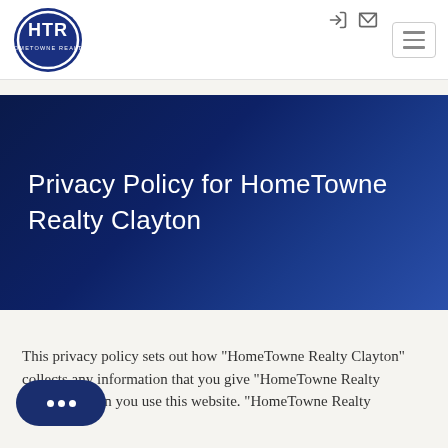HTR HomeTowne Realty logo with navigation icons and hamburger menu
Privacy Policy for HomeTowne Realty Clayton
This privacy policy sets out how "HomeTowne Realty Clayton" collects any information that you give "HomeTowne Realty Clayton" when you use this website. "HomeTowne Realty